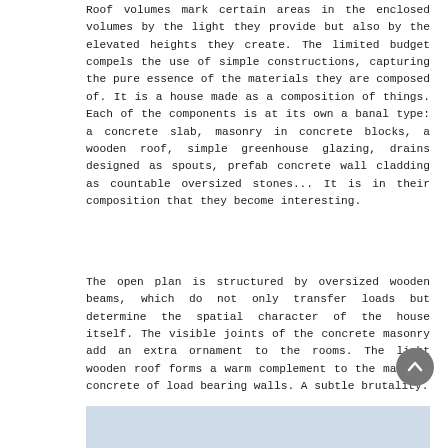Roof volumes mark certain areas in the enclosed volumes by the light they provide but also by the elevated heights they create. The limited budget compels the use of simple constructions, capturing the pure essence of the materials they are composed of. It is a house made as a composition of things. Each of the components is at its own a banal type: a concrete slab, masonry in concrete blocks, a wooden roof, simple greenhouse glazing, drains designed as spouts, prefab concrete wall cladding as countable oversized stones... It is in their composition that they become interesting.
The open plan is structured by oversized wooden beams, which do not only transfer loads but determine the spatial character of the house itself. The visible joints of the concrete masonry add an extra ornament to the rooms. The light wooden roof forms a warm complement to the massive concrete of load bearing walls. A subtle brutality.
[Figure (photo): Partial image strip visible at the bottom of the page, showing a light blue-grey toned architectural photograph.]